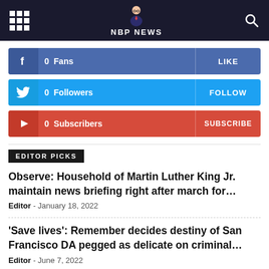NBP NEWS
[Figure (infographic): Facebook social bar: 0 Fans - LIKE]
[Figure (infographic): Twitter social bar: 0 Followers - FOLLOW]
[Figure (infographic): YouTube social bar: 0 Subscribers - SUBSCRIBE]
EDITOR PICKS
Observe: Household of Martin Luther King Jr. maintain news briefing right after march for...
Editor - January 18, 2022
'Save lives': Remember decides destiny of San Francisco DA pegged as delicate on criminal...
Editor - June 7, 2022